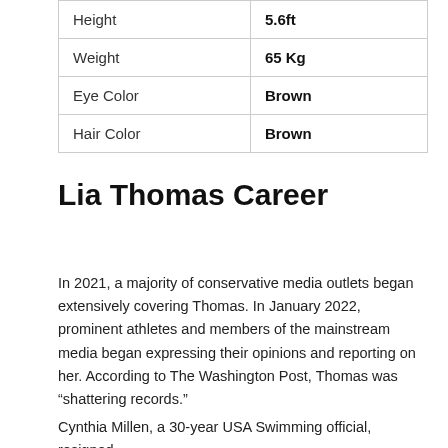| Height | 5.6ft |
| Weight | 65 Kg |
| Eye Color | Brown |
| Hair Color | Brown |
Lia Thomas Career
In 2021, a majority of conservative media outlets began extensively covering Thomas. In January 2022, prominent athletes and members of the mainstream media began expressing their opinions and reporting on her. According to The Washington Post, Thomas was “shattering records.”
Cynthia Millen, a 30-year USA Swimming official, resigned